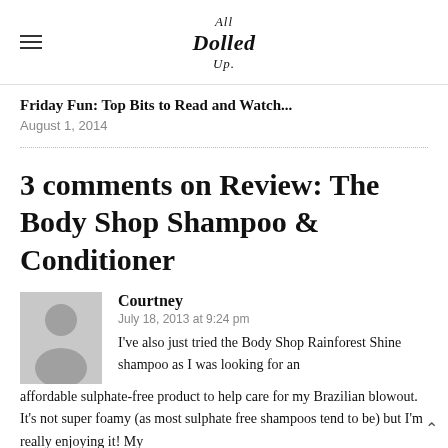All Dolled Up
Friday Fun: Top Bits to Read and Watch...
August 1, 2014
3 comments on Review: The Body Shop Shampoo & Conditioner
[Figure (illustration): Generic grey avatar placeholder image of a person silhouette]
Courtney
July 18, 2013 at 9:24 pm
I've also just tried the Body Shop Rainforest Shine shampoo as I was looking for an affordable sulphate-free product to help care for my Brazilian blowout. It's not super foamy (as most sulphate free shampoos tend to be) but I'm really enjoying it! My